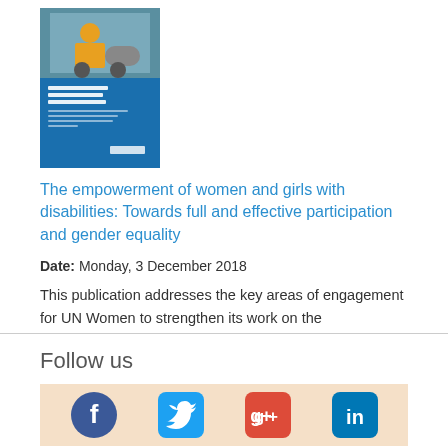[Figure (photo): Book cover image of UN Women publication: The Empowerment of Women and Girls with Disabilities]
The empowerment of women and girls with disabilities: Towards full and effective participation and gender equality
Date: Monday, 3 December 2018
This publication addresses the key areas of engagement for UN Women to strengthen its work on the empowerment of women and girls with disabilities.
1 - 8 of 8 Results
Follow us